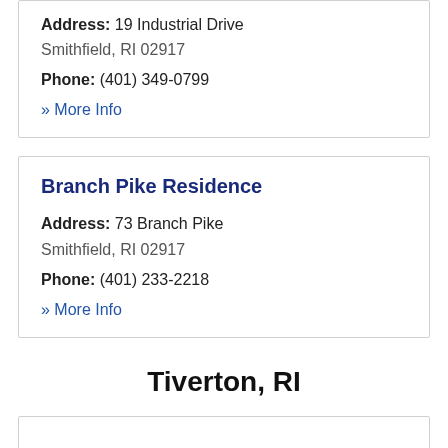Address: 19 Industrial Drive Smithfield, RI 02917
Phone: (401) 349-0799
» More Info
Branch Pike Residence
Address: 73 Branch Pike Smithfield, RI 02917
Phone: (401) 233-2218
» More Info
Tiverton, RI